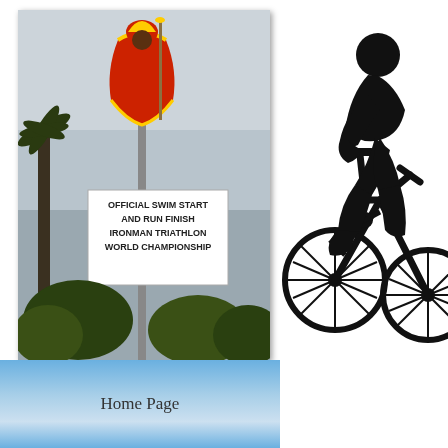[Figure (photo): Photograph of the Ironman Triathlon World Championship sign with a King Kamehameha statue on top, overcast sky background, palm trees visible. Sign reads: OFFICIAL SWIM START AND RUN FINISH IRONMAN TRIATHLON WORLD CHAMPIONSHIP]
[Figure (illustration): Black silhouette illustration of a person sitting on a bicycle that has fallen or is tipping, with the rider appearing to be off-balance or crashed]
Home Page
Home Page
HELP US